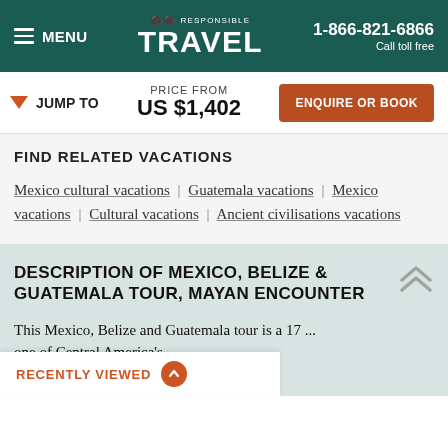MENU | RESPONSIBLE TRAVEL | 1-866-821-6866 Call toll free
▼ JUMP TO | PRICE FROM US $1,402 | ENQUIRE OR BOOK
FIND RELATED VACATIONS
Mexico cultural vacations | Guatemala vacations | Mexico vacations | Cultural vacations | Ancient civilisations vacations
DESCRIPTION OF MEXICO, BELIZE & GUATEMALA TOUR, MAYAN ENCOUNTER
This Mexico, Belize and Guatemala tour is a 17 ... one of Central America's ... but also to beaches
RECENTLY VIEWED